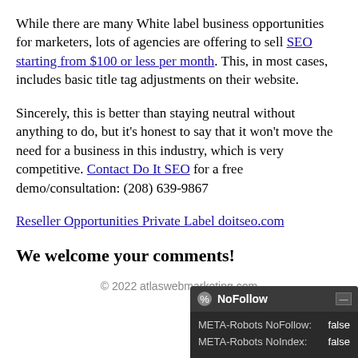While there are many White label business opportunities for marketers, lots of agencies are offering to sell SEO starting from $100 or less per month. This, in most cases, includes basic title tag adjustments on their website.
Sincerely, this is better than staying neutral without anything to do, but it's honest to say that it won't move the need for a business in this industry, which is very competitive. Contact Do It SEO for a free demo/consultation: (208) 639-9867
Reseller Opportunities Private Label doitseo.com
We welcome your comments!
© 2022 atlaswebmarketing.com
[Figure (screenshot): NoFollow browser extension popup showing META-Robots NoFollow: false and META-Robots NoIndex: false]